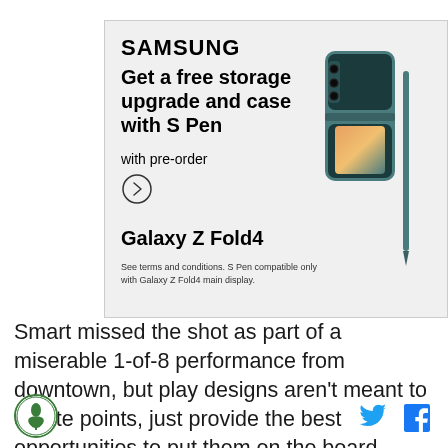[Figure (infographic): Samsung advertisement for Galaxy Z Fold4: Get a free storage upgrade and case with S Pen with pre-order. Shows the phone with S Pen in teal color. Includes Samsung logo, arrow CTA button, product name Galaxy Z Fold4, and small disclaimer text about terms and conditions.]
Smart missed the shot as part of a miserable 1-of-8 performance from downtown, but play designs aren't meant to create points, just provide the best opportunities to put them on the board.
[Green leaf logo] [Twitter icon] [Facebook icon]